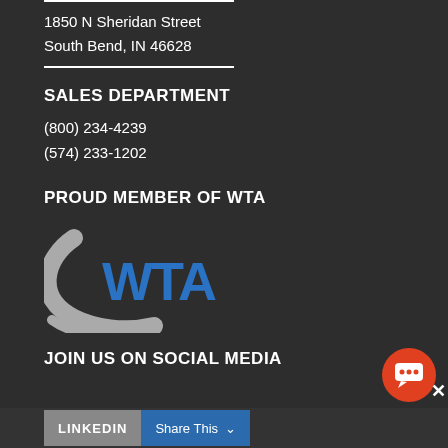1850 N Sheridan Street
South Bend, IN 46628
SALES DEPARTMENT
(800) 234-4239
(574) 233-1202
PROUD MEMBER OF WTA
[Figure (logo): WTA logo with grey swoosh arc and blue bold WTA text]
JOIN US ON SOCIAL MEDIA
LINKEDIN
Share This